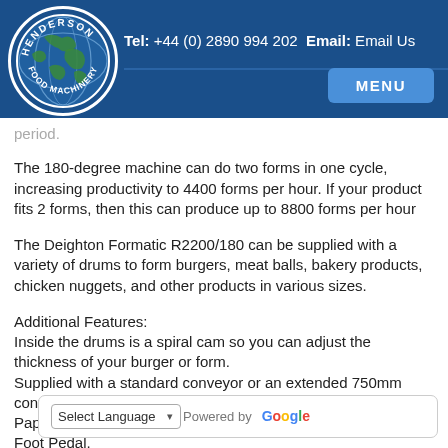Henderson Food Machinery - Tel: +44 (0) 2890 994 202 Email: Email Us - MENU
period.
The 180-degree machine can do two forms in one cycle, increasing productivity to 4400 forms per hour. If your product fits 2 forms, then this can produce up to 8800 forms per hour
The Deighton Formatic R2200/180 can be supplied with a variety of drums to form burgers, meat balls, bakery products, chicken nuggets, and other products in various sizes.
Additional Features:
Inside the drums is a spiral cam so you can adjust the thickness of your burger or form.
Supplied with a standard conveyor or an extended 750mm conveyor.
Paper Interleaving can be added.
Foot Pedal.
Can be supplied with trolley.
Variable speed conveyor.
Standard 10 litre hopper is attached we can supply hoppers up to 20...
1... Heavy duty form...